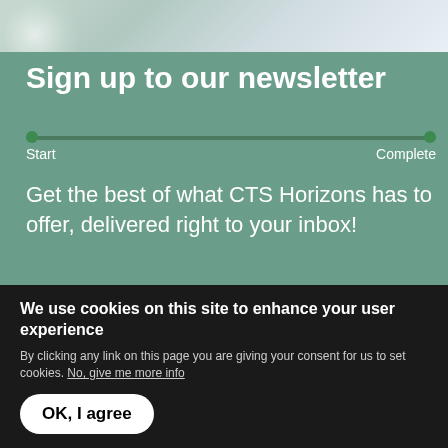[Figure (photo): Decorative photo strip at top showing foliage/nature background]
Sign up to our newsletter
Start                                                    Complete
Get the best of what CTS Horizons has to offer, delivered right to your inbox!
Your name here
Your surname here
We use cookies on this site to enhance your user experience
By clicking any link on this page you are giving your consent for us to set cookies. No, give me more info
OK, I agree